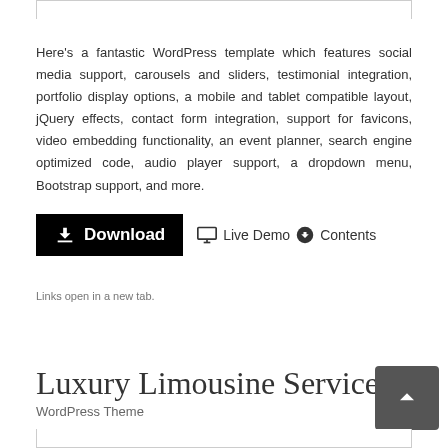Here's a fantastic WordPress template which features social media support, carousels and sliders, testimonial integration, portfolio display options, a mobile and tablet compatible layout, jQuery effects, contact form integration, support for favicons, video embedding functionality, an event planner, search engine optimized code, audio player support, a dropdown menu, Bootstrap support, and more.
[Figure (other): Download button (black), Live Demo button with monitor icon, Contents button with upload icon]
Links open in a new tab.
Luxury Limousine Services
WordPress Theme